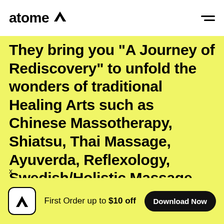atome [logo]
They bring you "A Journey of Rediscovery" to unfold the wonders of traditional Healing Arts such as Chinese Massotherapy, Shiatsu, Thai Massage, Ayuverda, Reflexology, Swedish/Holistic Massage and Sports Therapy. Inspiried by the rich and culturally deep-rooted knowledge of the various forms of the Healing Arts, they want everybody to experience
First Order up to $10 off
Download Now